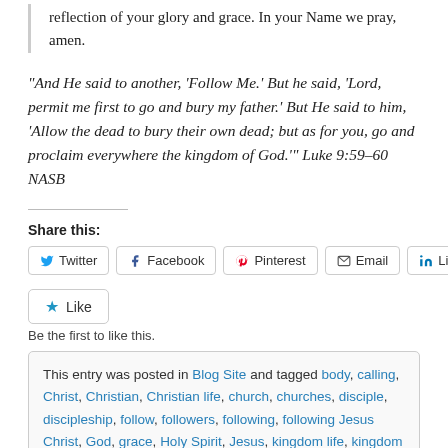reflection of your glory and grace. In your Name we pray, amen.
“And He said to another, ‘Follow Me.’ But he said, ‘Lord, permit me first to go and bury my father.’ But He said to him, ‘Allow the dead to bury their own dead; but as for you, go and proclaim everywhere the kingdom of God.’” Luke 9:59–60 NASB
Share this:
Twitter  Facebook  Pinterest  Email  LinkedIn
Like
Be the first to like this.
This entry was posted in Blog Site and tagged body, calling, Christ, Christian, Christian life, church, churches, disciple, discipleship, follow, followers, following, following Jesus Christ, God, grace, Holy Spirit, Jesus, kingdom life, kingdom of God, leaders, leadership, life, live, obedient, self-sacrifice, service, Spirit, Trinity, triune god, trust.